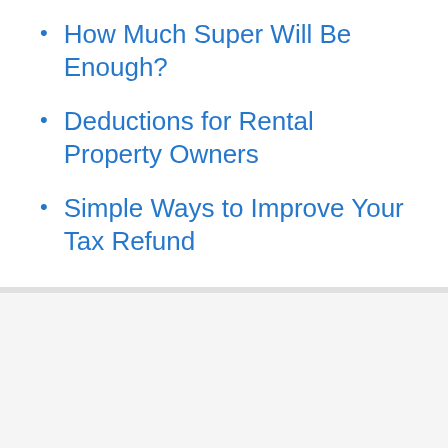How Much Super Will Be Enough?
Deductions for Rental Property Owners
Simple Ways to Improve Your Tax Refund
Important Dates and Tax Deadlines